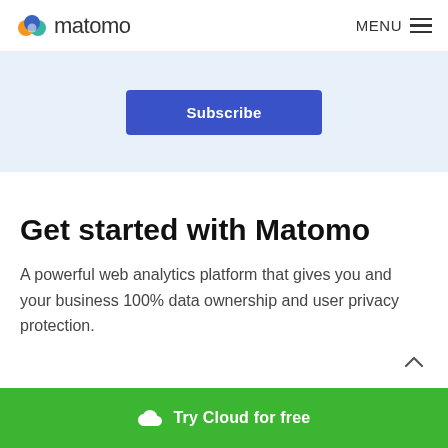matomo  MENU
Subscribe
Get started with Matomo
A powerful web analytics platform that gives you and your business 100% data ownership and user privacy protection.
Try Cloud for free